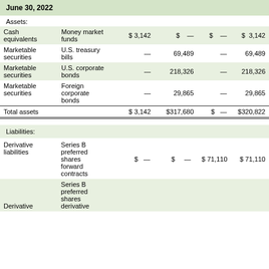June 30, 2022
Assets:
|  |  | Level 1 | Level 2 | Level 3 | Total |
| --- | --- | --- | --- | --- | --- |
| Cash equivalents | Money market funds | $ 3,142 | $  — | $  — | $ 3,142 |
| Marketable securities | U.S. treasury bills | — | 69,489 | — | 69,489 |
| Marketable securities | U.S. corporate bonds | — | 218,326 | — | 218,326 |
| Marketable securities | Foreign corporate bonds | — | 29,865 | — | 29,865 |
| Total assets |  | $ 3,142 | $317,680 | $  — | $320,822 |
Liabilities:
|  |  | Level 1 | Level 2 | Level 3 | Total |
| --- | --- | --- | --- | --- | --- |
| Derivative liabilities | Series B preferred shares forward contracts | $  — | $  — | $ 71,110 | $ 71,110 |
| Derivative | Series B preferred shares derivative |  |  |  |  |